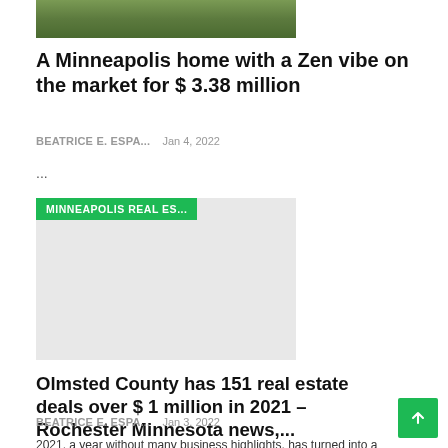[Figure (photo): Aerial or outdoor photo of a property with greenery]
A Minneapolis home with a Zen vibe on the market for $ 3.38 million
BEATRICE E. ESPA...    Jan 4, 2022
...
[Figure (photo): Gray placeholder image with Minneapolis Real Estate tag badge]
Olmsted County has 151 real estate deals over $ 1 million in 2021 – Rochester Minnesota news,...
BEATRICE E. ESPA...    Jan 3, 2022
2021, a year without many business highlights, has turned into a significant year for real estate in Rochester with 151 deals over $ 1 million.The largest transaction was the January sale of Med City -